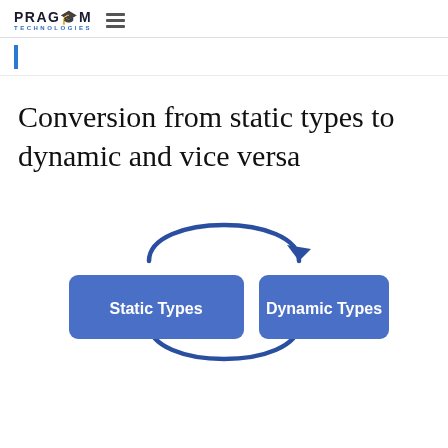PRAGIM TECHNOLOGIES
Conversion from static types to dynamic and vice versa
[Figure (flowchart): Circular diagram showing bidirectional conversion between Static Types and Dynamic Types, with arrows forming a cycle — top arrow pointing right from Static Types to Dynamic Types, bottom arrow pointing left from Dynamic Types back to Static Types.]